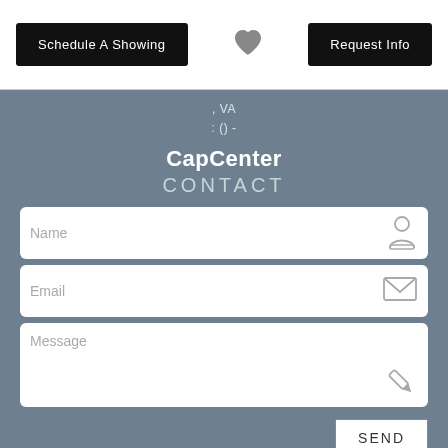Schedule A Showing
[Figure (illustration): Heart icon in gray]
Request Info
, VA
: () -
CapCenter
CONTACT
[Figure (screenshot): Contact form with Name, Email, Message fields and SEND button]
This site is protected by reCAPTCHA and the Google Privacy Policy and